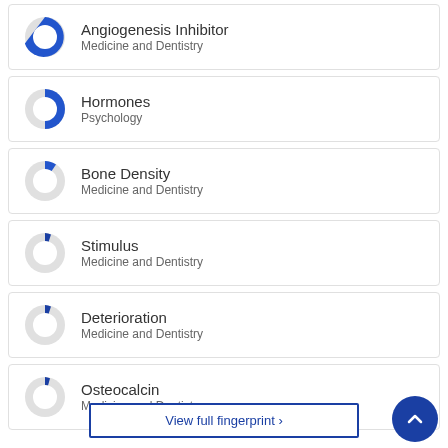Angiogenesis Inhibitor
Medicine and Dentistry
Hormones
Psychology
Bone Density
Medicine and Dentistry
Stimulus
Medicine and Dentistry
Deterioration
Medicine and Dentistry
Osteocalcin
Medicine and Dentistry
View full fingerprint >